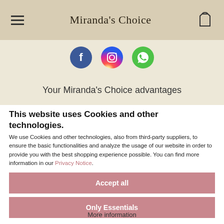Miranda's Choice
[Figure (illustration): Three social media icons: Facebook (blue circle), Instagram (gradient circle), WhatsApp (green circle)]
Your Miranda's Choice advantages
This website uses Cookies and other technologies.
We use Cookies and other technologies, also from third-party suppliers, to ensure the basic functionalities and analyze the usage of our website in order to provide you with the best shopping experience possible. You can find more information in our Privacy Notice.
Accept all
Only Essentials
More information